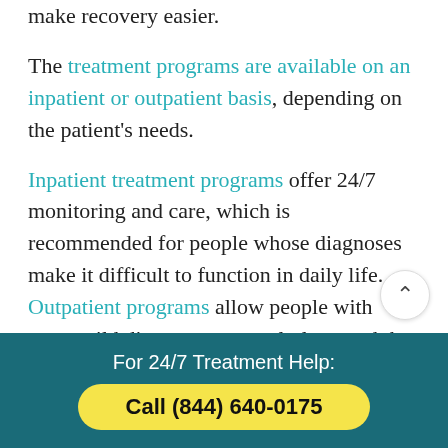make recovery easier.
The treatment programs are available on an inpatient or outpatient basis, depending on the patient's needs.
Inpatient treatment programs offer 24/7 monitoring and care, which is recommended for people whose diagnoses make it difficult to function in daily life. Outpatient programs allow people with more mild diagnoses to regularly attend the treatment cent while still living at home.
For 24/7 Treatment Help: Call (844) 640-0175